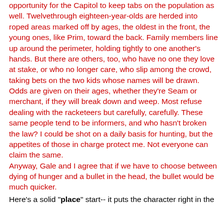opportunity for the Capitol to keep tabs on the population as well. Twelvethrough eighteen-year-olds are herded into roped areas marked off by ages, the oldest in the front, the young ones, like Prim, toward the back. Family members line up around the perimeter, holding tightly to one another's hands. But there are others, too, who have no one they love at stake, or who no longer care, who slip among the crowd, taking bets on the two kids whose names will be drawn. Odds are given on their ages, whether they're Seam or merchant, if they will break down and weep. Most refuse dealing with the racketeers but carefully, carefully. These same people tend to be informers, and who hasn't broken the law? I could be shot on a daily basis for hunting, but the appetites of those in charge protect me. Not everyone can claim the same.
Anyway, Gale and I agree that if we have to choose between dying of hunger and a bullet in the head, the bullet would be much quicker.
Here's a solid "place" start-- it puts the character right in the